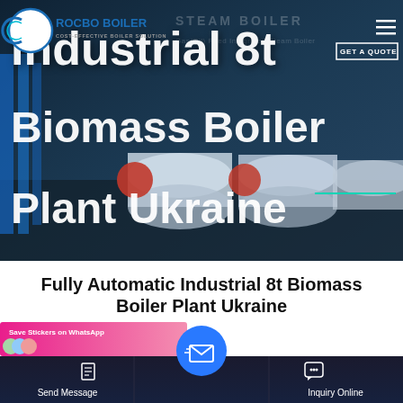[Figure (screenshot): Hero image of industrial biomass boilers in a facility with overlay title text 'Industrial 8t Biomass Boiler Plant Ukraine' and ROCBO BOILER logo in top-left corner]
Fully Automatic Industrial 8t Biomass Boiler Plant Ukraine
[Figure (screenshot): Bottom action bar with Send Message, email icon center circle, and Inquiry Online buttons on dark background, plus WhatsApp sticker popup]